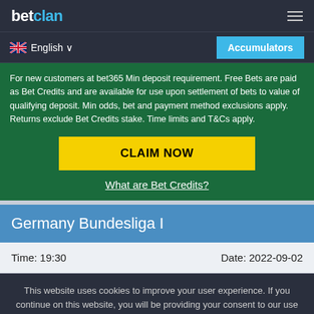betclan
English
Accumulators
For new customers at bet365 Min deposit requirement. Free Bets are paid as Bet Credits and are available for use upon settlement of bets to value of qualifying deposit. Min odds, bet and payment method exclusions apply. Returns exclude Bet Credits stake. Time limits and T&Cs apply.
CLAIM NOW
What are Bet Credits?
Germany Bundesliga I
Time: 19:30    Date: 2022-09-02
This website uses cookies to improve your user experience. If you continue on this website, you will be providing your consent to our use of cookies.
Info
Accept